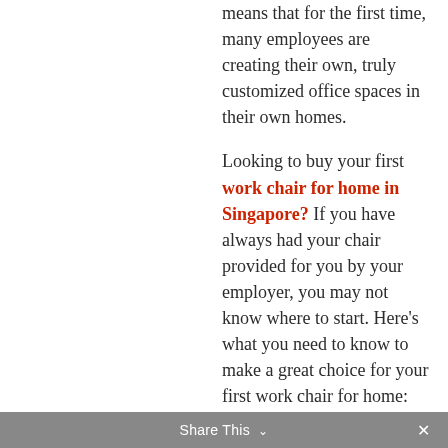means that for the first time, many employees are creating their own, truly customized office spaces in their own homes.
Looking to buy your first work chair for home in Singapore? If you have always had your chair provided for you by your employer, you may not know where to start. Here’s what you need to know to make a great choice for your first work chair for home:
Share This ✕